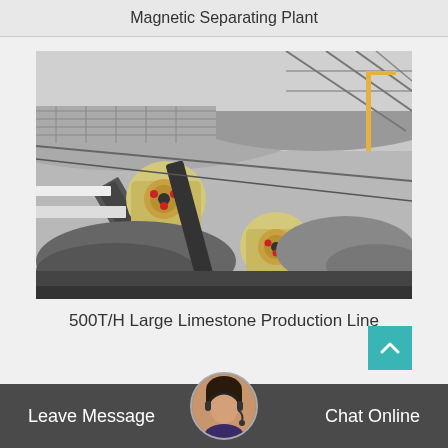Magnetic Separating Plant
[Figure (photo): Aerial/overhead view of a large industrial magnetic separating plant facility showing crushing equipment, conveyor belts, jaw crushers, rock material piles, and an open steel-framed structure building]
500T/H Large Limestone Production Line
Leave Message  Chat Online